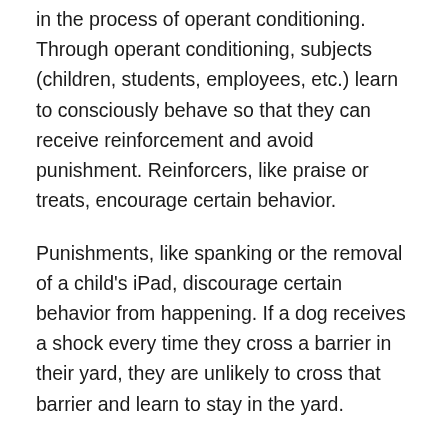in the process of operant conditioning. Through operant conditioning, subjects (children, students, employees, etc.) learn to consciously behave so that they can receive reinforcement and avoid punishment. Reinforcers, like praise or treats, encourage certain behavior.
Punishments, like spanking or the removal of a child's iPad, discourage certain behavior from happening. If a dog receives a shock every time they cross a barrier in their yard, they are unlikely to cross that barrier and learn to stay in the yard.
Primary Reinforcement (Definition and Examples)